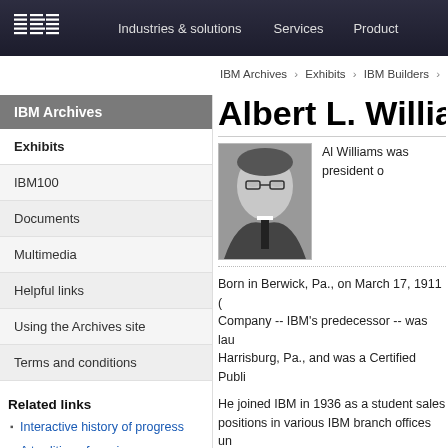IBM — Industries & solutions   Services   Product
IBM Archives  >  Exhibits  >  IBM Builders  >  IBM
IBM Archives
Exhibits
IBM100
Documents
Multimedia
Helpful links
Using the Archives site
Terms and conditions
Related links
Interactive history of progress
A tradition of service
Albert L. Williams
[Figure (photo): Black and white portrait photo of Albert L. Williams, a middle-aged man wearing glasses and a suit]
Al Williams was president o
Born in Berwick, Pa., on March 17, 1911 (... Company -- IBM's predecessor -- was lau Harrisburg, Pa., and was a Certified Publi
He joined IBM in 1936 as a student sales ... positions in various IBM branch offices un Executive Assistant at IBM corporate head
Williams was elected IBM Controller in No President and Treasurer in 1948. The IBM
In 1954, he was elected Executive Preside became a member of the IBM Board's Ex